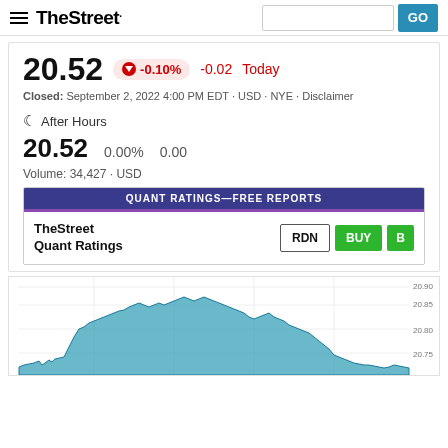TheStreet
20.52  -0.10%  -0.02  Today
Closed:  September 2, 2022 4:00 PM  EDT · USD · NYE · Disclaimer
After Hours
20.52  0.00%  0.00
Volume: 34,427 · USD
[Figure (infographic): TheStreet Quant Ratings box with QUANT RATINGS—FREE REPORTS header, showing RDN, BUY, B buttons]
[Figure (continuous-plot): Intraday stock price chart, teal area chart showing price movement, y-axis labels 20.90, 20.85, 20.80, 20.75]